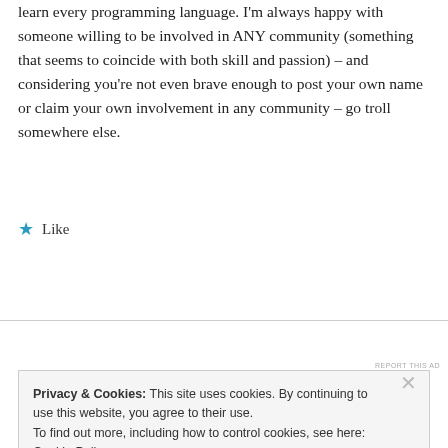learn every programming language. I'm always happy with someone willing to be involved in ANY community (something that seems to coincide with both skill and passion) – and considering you're not even brave enough to post your own name or claim your own involvement in any community – go troll somewhere else.
★ Like
REPLY
[Figure (other): Advertisement banner with dark navy blue section and a partial photo of a face]
REPORT THIS AD
Privacy & Cookies: This site uses cookies. By continuing to use this website, you agree to their use.
To find out more, including how to control cookies, see here: Cookie Policy
Close and accept